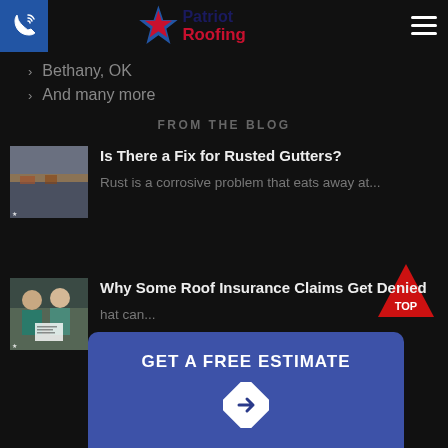Patriot Roofing
Bethany, OK
And many more
FROM THE BLOG
[Figure (photo): Photo of rusted gutters on a house roof]
Is There a Fix for Rusted Gutters?
Rust is a corrosive problem that eats away at...
[Figure (photo): Photo of a couple reviewing insurance documents]
Why Some Roof Insurance Claims Get Denied
hat can...
[Figure (infographic): Red triangle TOP button - back to top navigation]
GET A FREE ESTIMATE